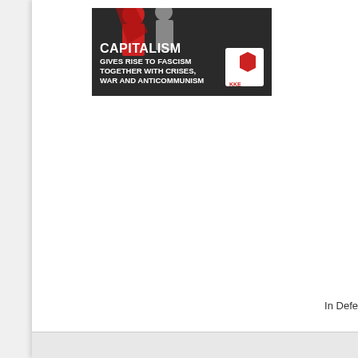[Figure (illustration): Political poster with dark background showing figures in red and grey, text reading 'CAPITALISM GIVES RISE TO FASCISM TOGETHER WITH CRISES, WAR AND ANTICOMMUNISM' with a KKE (Communist Party of Greece) logo in the top right corner.]
In Defe